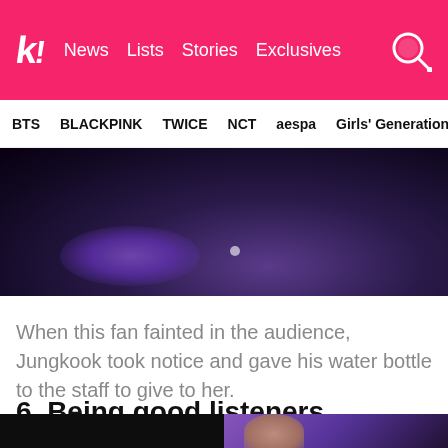k! News Lists Stories Exclusives
BTS BLACKPINK TWICE NCT aespa Girls' Generation
[Figure (photo): Dark concert image showing purple/violet lighting on stage with bokeh effect]
When this fan fainted in the audience, Jungkook took notice and gave his water bottle to the staff to give to her.
6. Being good listeners
[Figure (photo): Bottom partial image showing a dark left half and a purple-toned right half with a person's face visible]